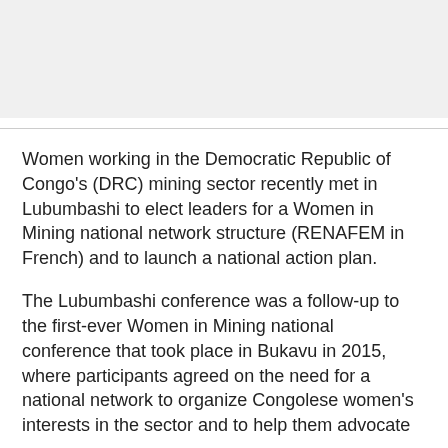[Figure (photo): Gray/light image area at top of page]
Women working in the Democratic Republic of Congo's (DRC) mining sector recently met in Lubumbashi to elect leaders for a Women in Mining national network structure (RENAFEM in French) and to launch a national action plan.
The Lubumbashi conference was a follow-up to the first-ever Women in Mining national conference that took place in Bukavu in 2015, where participants agreed on the need for a national network to organize Congolese women's interests in the sector and to help them advocate